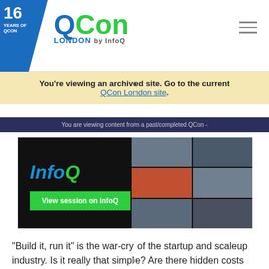[Figure (logo): QCon London by InfoQ logo with 16 Years of QCon corner badge and hamburger menu icon]
You're viewing an archived site. Go to the current QCon London site.
You are viewing content from a past/completed QCon -
[Figure (screenshot): InfoQ branded hero image with 'View session on InfoQ' button and grid of speaker faces]
"Build it, run it" is the war-cry of the startup and scaleup industry. Is it really that simple? Are there hidden costs like